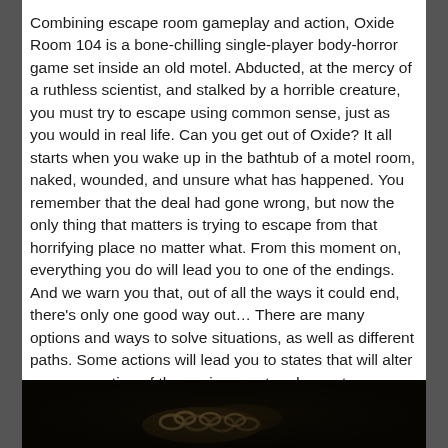Combining escape room gameplay and action, Oxide Room 104 is a bone-chilling single-player body-horror game set inside an old motel. Abducted, at the mercy of a ruthless scientist, and stalked by a horrible creature, you must try to escape using common sense, just as you would in real life. Can you get out of Oxide? It all starts when you wake up in the bathtub of a motel room, naked, wounded, and unsure what has happened. You remember that the deal had gone wrong, but now the only thing that matters is trying to escape from that horrifying place no matter what. From this moment on, everything you do will lead you to one of the endings. And we warn you that, out of all the ways it could end, there's only one good way out… There are many options and ways to solve situations, as well as different paths. Some actions will lead you to states that will alter your perception of the environment and even to an abrupt outcome. Remember that a bad decision can be the difference between life and death.
[Figure (photo): Dark motel room scene showing chains, very dark and ominous atmosphere]